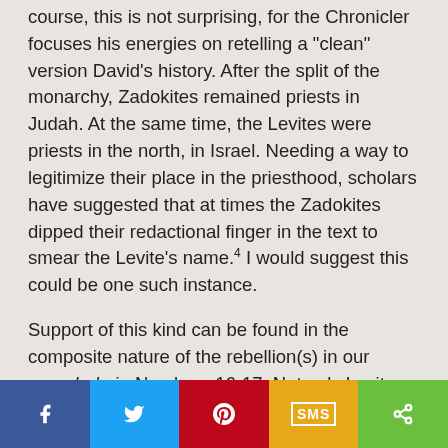course, this is not surprising, for the Chronicler focuses his energies on retelling a "clean" version David's history. After the split of the monarchy, Zadokites remained priests in Judah. At the same time, the Levites were priests in the north, in Israel. Needing a way to legitimize their place in the priesthood, scholars have suggested that at times the Zadokites dipped their redactional finger in the text to smear the Levite's name.⁴ I would suggest this could be one such instance.
Support of this kind can be found in the composite nature of the rebellion(s) in our parashah, in Numbers 16-17. Not only Levites, but also Reubenites revolt, and both parties are punished. Part of the Zadokites' agenda was to legitimize their position. Yet, after the split of the united
[Figure (infographic): Social media share bar with Facebook, Twitter, Pinterest, SMS, and share buttons]